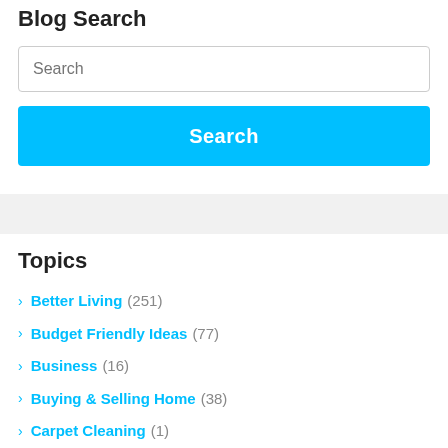Blog Search
Search (input field)
Search (button)
Topics
> Better Living (251)
> Budget Friendly Ideas (77)
> Business (16)
> Buying & Selling Home (38)
> Carpet Cleaning (1)